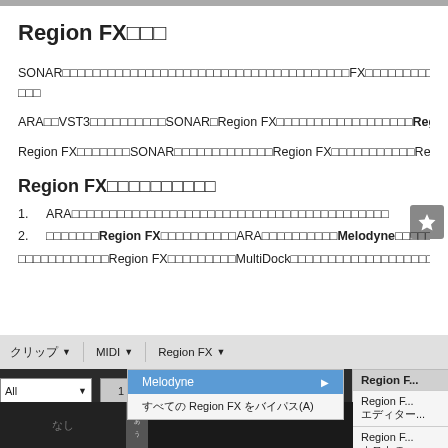Region FX□□□
SONAR□□□□□□□□□□□□□□□□□□□□□□□□□□□□□□□□□□□□□□FX□□□□□□□□□□□□□□□□□□□□□□□□□□□□□□□□□□
ARA□□VST3□□□□□□□□□□SONAR□Region FX□□□□□□□□□□□□□□□□□□Region FX...
Region FX□□□□□□□SONAR□□□□□□□□□□□□□Region FX□□□□□□□□□□□Region FX...
Region FX□□□□□□□□□□
ARA□□□□□□□□□□□□□□□□□□□□□□□□□□□□□□□□□□□□□□□□□□
□□□□□□□Region FX□□□□□□□□□□ARA□□□□□□□□□□Melodyne□□□□□□R...
□□□□□□□□□□□□Region FX□□□□□□□□□MultiDock□□□□□□□□□□□□□□□□□□□□□
[Figure (screenshot): Screenshot of SONAR UI showing Region FX menu with Melodyne submenu option selected in blue, and a right-side panel showing Region F options. Bottom shows dark track area with 'なし' label.]